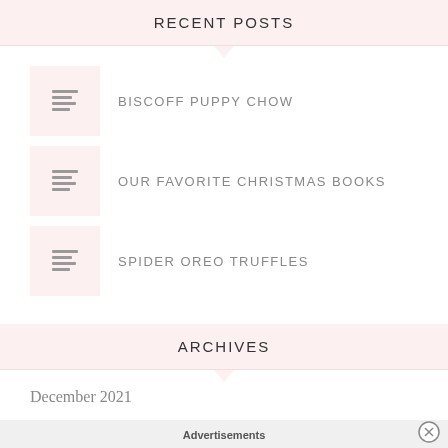RECENT POSTS
BISCOFF PUPPY CHOW
OUR FAVORITE CHRISTMAS BOOKS
SPIDER OREO TRUFFLES
ARCHIVES
December 2021
October 2021
Advertisements